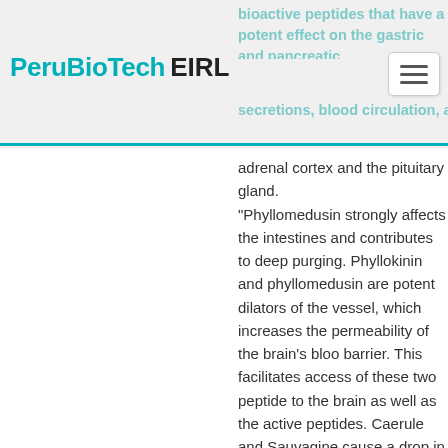PeruBioTech EIRL
bioactive peptides that have a potent effect on the gastric and pancreatic secretions, blood circulation, and stimulation of the adrenal cortex and the pituitary gland. "Phyllomedusin strongly affects the intestines and contributes to deep purging. Phyllokinin and phyllomedusin are potent dilators of the vessel, which increases the permeability of the brain's blood barrier. This facilitates access of these two peptides to the brain as well as the active peptides. Caerulein and Sauvagine cause a drop in blood pressure accompanied by tachycardia. These also stimulate the adrenal cortex and the pituitary gland, which contributes to an increase in sensory perception and endurance. Both peptides have a strong analgesic effect, improve resistance, increase physical strength, and in general, improve the ability to withstand pain and stressful situations. They have a medicinal potential that facilitates digestion, and analgesic